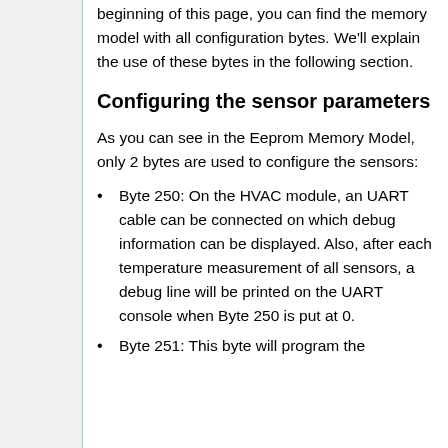beginning of this page, you can find the memory model with all configuration bytes. We'll explain the use of these bytes in the following section.
Configuring the sensor parameters
As you can see in the Eeprom Memory Model, only 2 bytes are used to configure the sensors:
Byte 250: On the HVAC module, an UART cable can be connected on which debug information can be displayed. Also, after each temperature measurement of all sensors, a debug line will be printed on the UART console when Byte 250 is put at 0.
Byte 251: This byte will program the